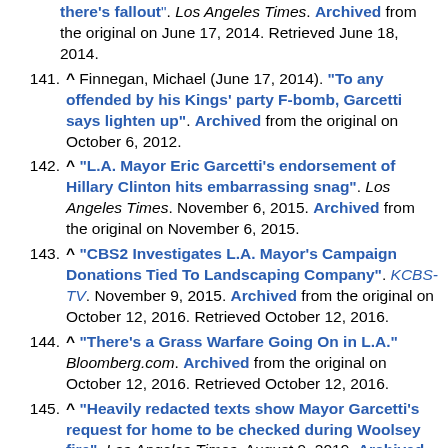(partial top) there's fallout. Los Angeles Times. Archived from the original on June 17, 2014. Retrieved June 18, 2014.
141. ^ Finnegan, Michael (June 17, 2014). "To any offended by his Kings' party F-bomb, Garcetti says lighten up". Archived from the original on October 6, 2012.
142. ^ "L.A. Mayor Eric Garcetti's endorsement of Hillary Clinton hits embarrassing snag". Los Angeles Times. November 6, 2015. Archived from the original on November 6, 2015.
143. ^ "CBS2 Investigates L.A. Mayor's Campaign Donations Tied To Landscaping Company". KCBS-TV. November 9, 2015. Archived from the original on October 12, 2016. Retrieved October 12, 2016.
144. ^ "There's a Grass Warfare Going On in L.A." Bloomberg.com. Archived from the original on October 12, 2016. Retrieved October 12, 2016.
145. ^ "Heavily redacted texts show Mayor Garcetti's request for home to be checked during Woolsey fire". Los Angeles Times. August 9, 2019. Archived from the original on